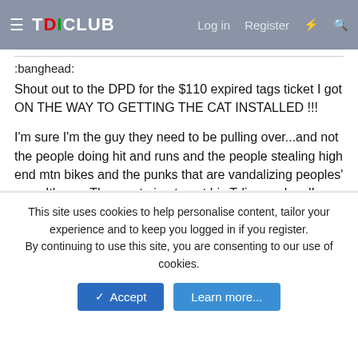TDICLUB  Log in  Register
:banghead:
Shout out to the DPD for the $110 expired tags ticket I got ON THE WAY TO GETTING THE CAT INSTALLED !!!
I'm sure I'm the guy they need to be pulling over...and not the people doing hit and runs and the people stealing high end mtn bikes and the punks that are vandalizing peoples' cars. It's me. The guy trying to get his Tdi swap legal!
End rant/
Vwscream
Veteran Member
This site uses cookies to help personalise content, tailor your experience and to keep you logged in if you register.
By continuing to use this site, you are consenting to our use of cookies.